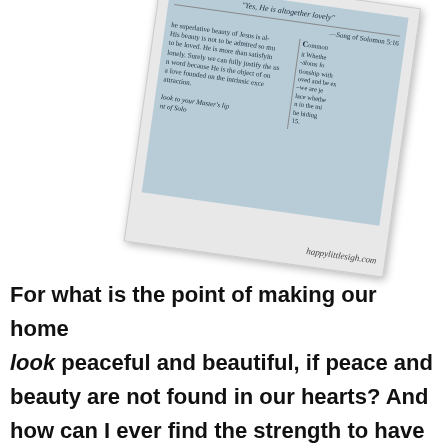[Figure (photo): A tilted polaroid-style photograph showing a text from a book with quotes about Jesus's beauty, referencing Song of Solomon. Text reads: 'Yes, He is altogether lovely' — Song of Solomon 5:16. Columns of text discuss the superlative beauty of Jesus. Website URL happylittlesigh.com shown at bottom of polaroid.]
For what is the point of making our home look peaceful and beautiful, if peace and beauty are not found in our hearts? And how can I ever find the strength to have patience in those moments of chaos, or